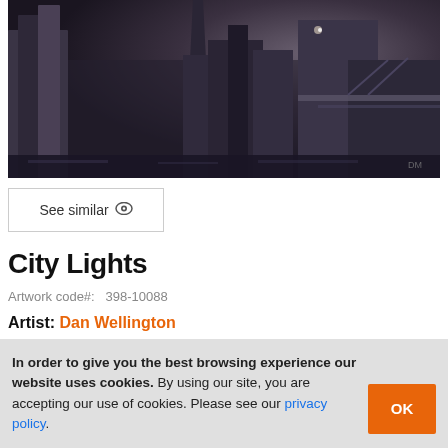[Figure (photo): Dark moody painting of a city skyline at night with buildings, a tower/steeple, and a bridge, rendered in dark grays and purples]
See similar 👁
City Lights
Artwork code#:  398-10088
Artist: Dan Wellington
COMMISSION ARTIST
In order to give you the best browsing experience our website uses cookies. By using our site, you are accepting our use of cookies. Please see our privacy policy.